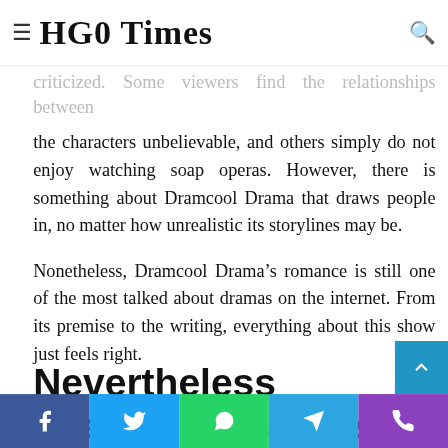HGO Times
Despite, Hancer Drama's Romance being one of the criticized. Some viewers find the relationships between the characters unbelievable, and others simply do not enjoy watching soap operas. However, there is something about Dramcool Drama that draws people in, no matter how unrealistic its storylines may be.
Nonetheless, Dramcool Drama's romance is still one of the most talked about dramas on the internet. From its premise to the writing, everything about this show just feels right.
Nevertheless Dramcool Drama's Comedy